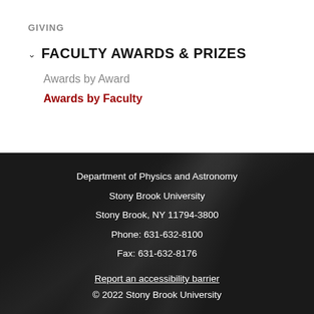GIVING
FACULTY AWARDS & PRIZES
Awards by Award
Awards by Faculty
Department of Physics and Astronomy
Stony Brook University
Stony Brook, NY 11794-3800
Phone: 631-632-8100
Fax: 631-632-8176
Report an accessibility barrier
© 2022 Stony Brook University